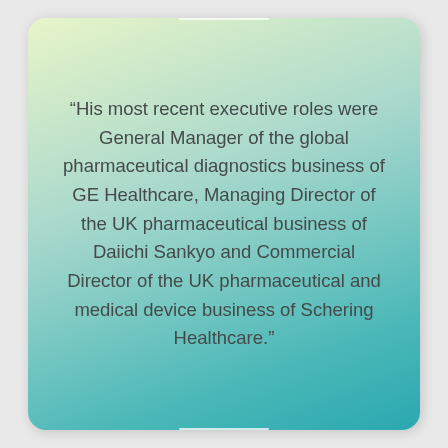“His most recent executive roles were General Manager of the global pharmaceutical diagnostics business of GE Healthcare, Managing Director of the UK pharmaceutical business of Daiichi Sankyo and Commercial Director of the UK pharmaceutical and medical device business of Schering Healthcare.”